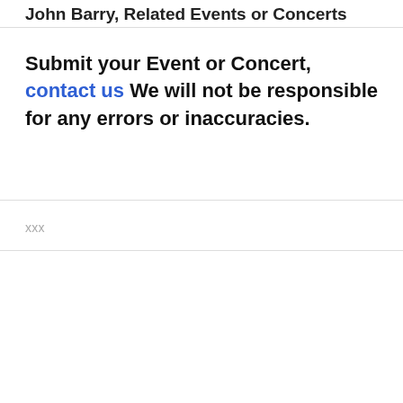John Barry, Related Events or Concerts
Submit your Event or Concert, contact us We will not be responsible for any errors or inaccuracies.
xxx